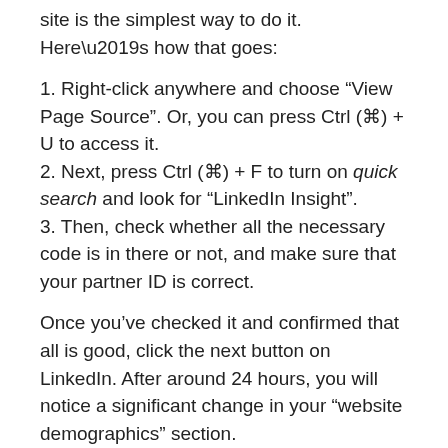site is the simplest way to do it. Here’s how that goes:
1. Right-click anywhere and choose “View Page Source”. Or, you can press Ctrl (⌘) + U to access it.
2. Next, press Ctrl (⌘) + F to turn on quick search and look for “LinkedIn Insight”.
3. Then, check whether all the necessary code is in there or not, and make sure that your partner ID is correct.
Once you’ve checked it and confirmed that all is good, click the next button on LinkedIn. After around 24 hours, you will notice a significant change in your “website demographics” section.